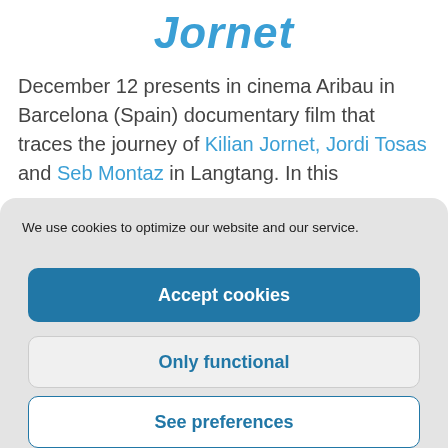Jornet
December 12 presents in cinema Aribau in Barcelona (Spain) documentary film that traces the journey of Kilian Jornet, Jordi Tosas and Seb Montaz in Langtang. In this
We use cookies to optimize our website and our service.
Accept cookies
Only functional
See preferences
Politica de cookies
ENG
Política de privacidad
ENG
Términos legales
ENG